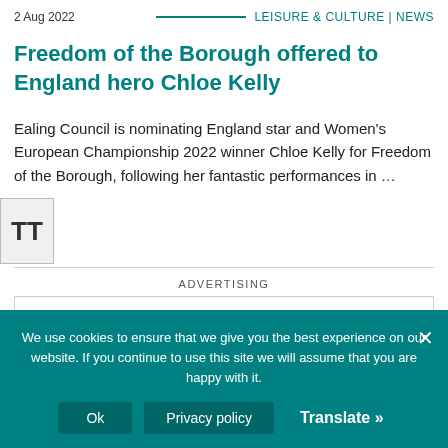2 Aug 2022  LEISURE & CULTURE | NEWS
Freedom of the Borough offered to England hero Chloe Kelly
Ealing Council is nominating England star and Women's European Championship 2022 winner Chloe Kelly for Freedom of the Borough, following her fantastic performances in …
ADVERTISING
We use cookies to ensure that we give you the best experience on our website. If you continue to use this site we will assume that you are happy with it.